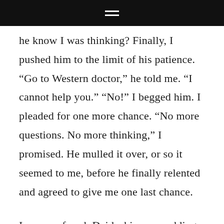≡
he know I was thinking? Finally, I pushed him to the limit of his patience. “Go to Western doctor,” he told me. “I cannot help you.” “No!” I begged him. I pleaded for one more chance. “No more questions. No more thinking,” I promised. He mulled it over, or so it seemed to me, before he finally relented and agreed to give me one last chance.
I was confused. Daidoshi was prodding me to go deeper and uncover the causes of the cancer, and T.K was pushing me to be peaceful. “You’re both driving